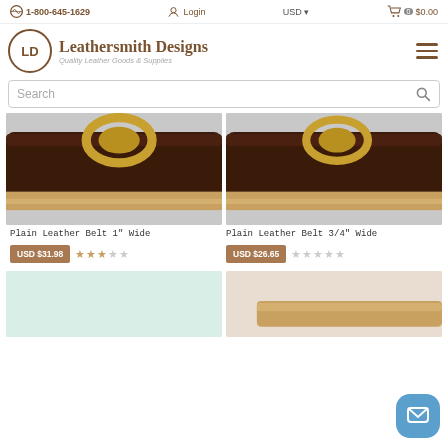1-800-645-1629 | Login | USD | $0.00
Leathersmith Designs — Quality Leather Goods & Supplies
Search
[Figure (photo): Close-up photo of a dark brown leather belt with gold buckle — Plain Leather Belt 1" Wide]
[Figure (photo): Close-up photo of a dark brown leather belt with gold buckle — Plain Leather Belt 3/4" Wide]
Plain Leather Belt 1" Wide
Plain Leather Belt 3/4" Wide
USD $31.98
USD $26.65
[Figure (photo): Partial product photo — light green/white background, bottom row left]
[Figure (photo): Partial product photo — beige leather item, bottom row right]